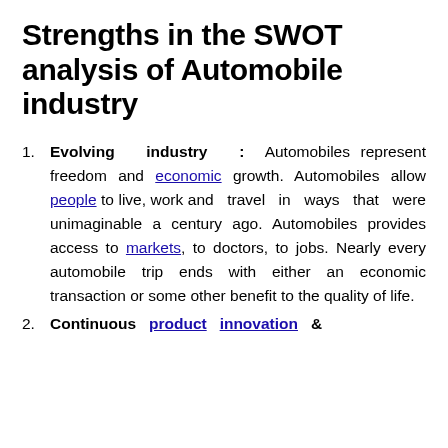Strengths in the SWOT analysis of Automobile industry
Evolving industry : Automobiles represent freedom and economic growth. Automobiles allow people to live, work and travel in ways that were unimaginable a century ago. Automobiles provides access to markets, to doctors, to jobs. Nearly every automobile trip ends with either an economic transaction or some other benefit to the quality of life.
Continuous product innovation &